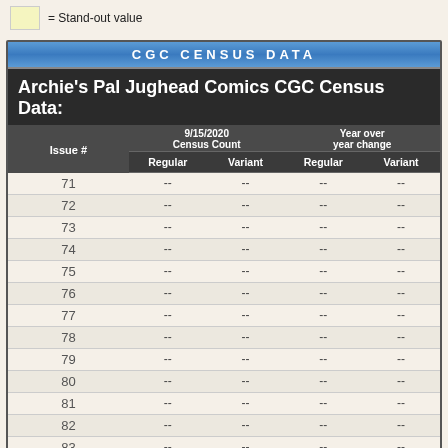= Stand-out value
| Issue # | Regular | Variant | Regular | Variant |
| --- | --- | --- | --- | --- |
| 71 | -- | -- | -- | -- |
| 72 | -- | -- | -- | -- |
| 73 | -- | -- | -- | -- |
| 74 | -- | -- | -- | -- |
| 75 | -- | -- | -- | -- |
| 76 | -- | -- | -- | -- |
| 77 | -- | -- | -- | -- |
| 78 | -- | -- | -- | -- |
| 79 | -- | -- | -- | -- |
| 80 | -- | -- | -- | -- |
| 81 | -- | -- | -- | -- |
| 82 | -- | -- | -- | -- |
| 83 | -- | -- | -- | -- |
| 84 | -- | -- | -- | -- |
| 85 | -- | -- | -- | -- |
| 86 | -- | -- | -- | -- |